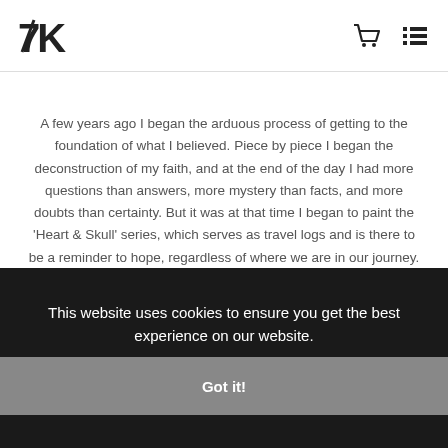7K logo, cart icon, menu icon
A few years ago I began the arduous process of getting to the foundation of what I believed. Piece by piece I began the deconstruction of my faith, and at the end of the day I had more questions than answers, more mystery than facts, and more doubts than certainty. But it was at that time I began to paint the ‘Heart & Skull’ series, which serves as travel logs and is there to be a reminder to hope, regardless of where we are in our journey.
[Figure (photo): Dark section with partial image visible, showing crown-like decorative element at top]
This website uses cookies to ensure you get the best experience on our website.
Got it!